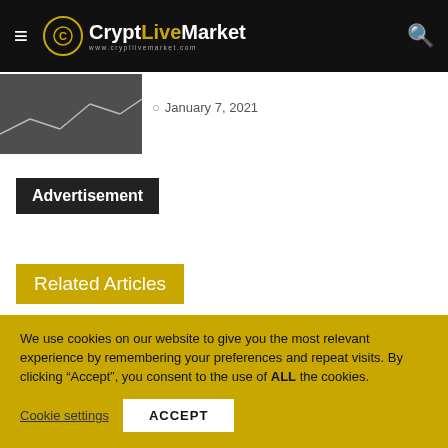CryptLiveMarket — www.cryptlivemarket.com
January 7, 2021
Advertisement
Related Articles
[Figure (photo): Cryptocurrency coins with colorful market chart lines in background]
[Figure (photo): Abstract red light streaks with numbers, representing digital finance data]
We use cookies on our website to give you the most relevant experience by remembering your preferences and repeat visits. By clicking “Accept”, you consent to the use of ALL the cookies.
Cookie settings  ACCEPT